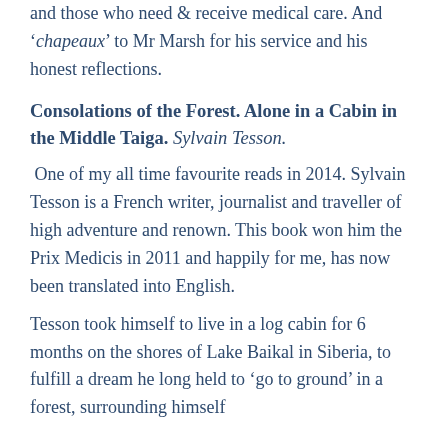and those who need & receive medical care. And 'chapeaux' to Mr Marsh for his service and his honest reflections.
Consolations of the Forest. Alone in a Cabin in the Middle Taiga. Sylvain Tesson.
One of my all time favourite reads in 2014. Sylvain Tesson is a French writer, journalist and traveller of high adventure and renown. This book won him the Prix Medicis in 2011 and happily for me, has now been translated into English.
Tesson took himself to live in a log cabin for 6 months on the shores of Lake Baikal in Siberia, to fulfill a dream he long held to 'go to ground' in a forest, surrounding himself